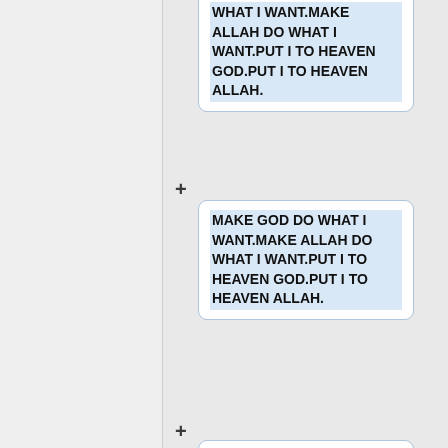WHAT I WANT.MAKE ALLAH DO WHAT I WANT.PUT I TO HEAVEN GOD.PUT I TO HEAVEN ALLAH.
MAKE GOD DO WHAT I WANT.MAKE ALLAH DO WHAT I WANT.PUT I TO HEAVEN GOD.PUT I TO HEAVEN ALLAH.
MAKE GOD DO WHAT I WANT.MAKE